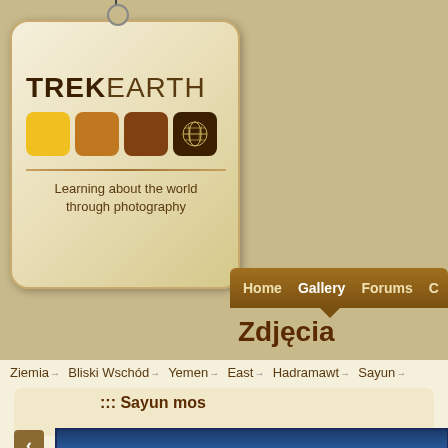[Figure (logo): TrekEarth logo tag with colorful squares and world map icon, tagline: Learning about the world through photography]
Home  Gallery  Forums  C...
Zdjęcia
Ziemia → Bliski Wschód → Yemen → East → Hadramawt → Sayun →
::: Sayun mos